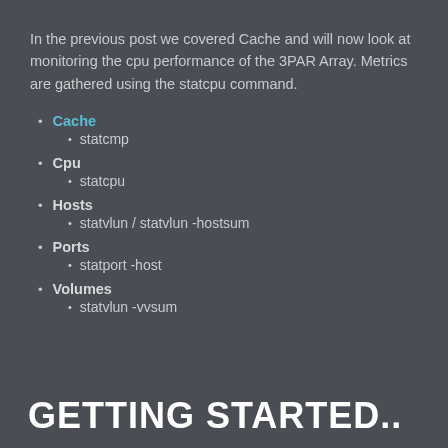In the previous post we covered Cache and will now look at monitoring the cpu performance of the 3PAR Array. Metrics are gathered using the statcpu command.
Cache
statcmp
Cpu
statcpu
Hosts
statvlun / statvlun -hostsum
Ports
statport -host
Volumes
statvlun -vvsum
GETTING STARTED..